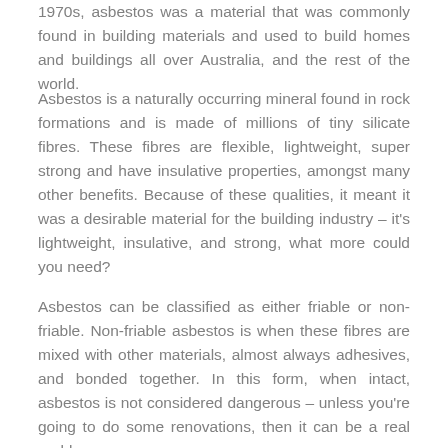1970s, asbestos was a material that was commonly found in building materials and used to build homes and buildings all over Australia, and the rest of the world.
Asbestos is a naturally occurring mineral found in rock formations and is made of millions of tiny silicate fibres. These fibres are flexible, lightweight, super strong and have insulative properties, amongst many other benefits. Because of these qualities, it meant it was a desirable material for the building industry – it's lightweight, insulative, and strong, what more could you need?
Asbestos can be classified as either friable or non-friable. Non-friable asbestos is when these fibres are mixed with other materials, almost always adhesives, and bonded together. In this form, when intact, asbestos is not considered dangerous – unless you're going to do some renovations, then it can be a real problem.